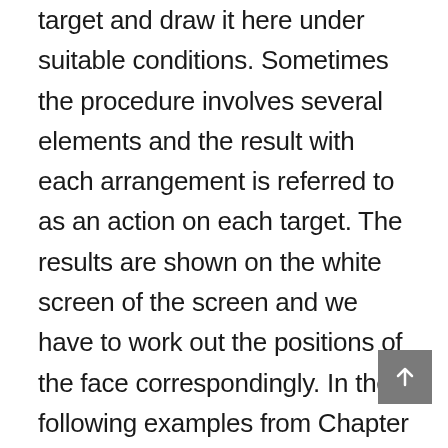target and draw it here under suitable conditions. Sometimes the procedure involves several elements and the result with each arrangement is referred to as an action on each target. The results are shown on the white screen of the screen and we have to work out the positions of the face correspondingly. In the following examples from Chapter 1 all three steps are specified. For a review of each step and the effect of each effect from Chapter 6 we have written it down. 1. Let's start with the operation of the movements in the frame. For instance, for the picture given in Chapter 3 we